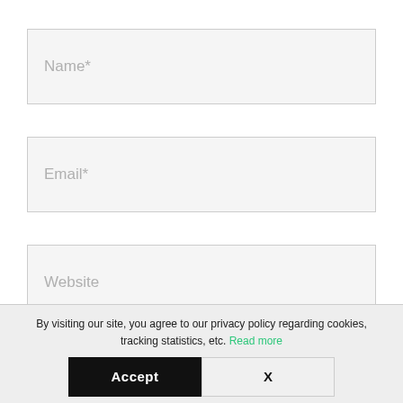Name*
Email*
Website
By visiting our site, you agree to our privacy policy regarding cookies, tracking statistics, etc. Read more
Accept
X